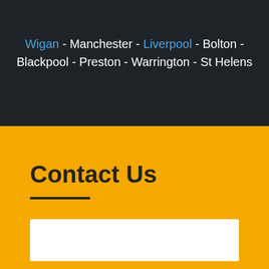Wigan - Manchester - Liverpool - Bolton - Blackpool - Preston - Warrington - St Helens
Contact Us
Name